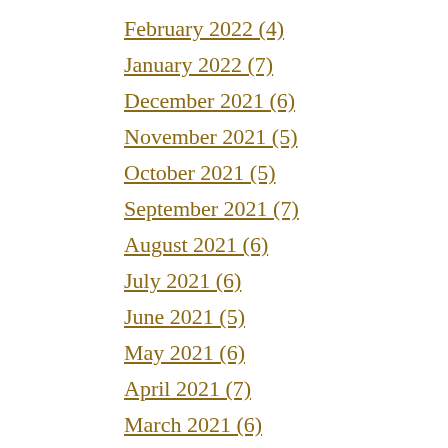February 2022 (4)
January 2022 (7)
December 2021 (6)
November 2021 (5)
October 2021 (5)
September 2021 (7)
August 2021 (6)
July 2021 (6)
June 2021 (5)
May 2021 (6)
April 2021 (7)
March 2021 (6)
February 2021 (6)